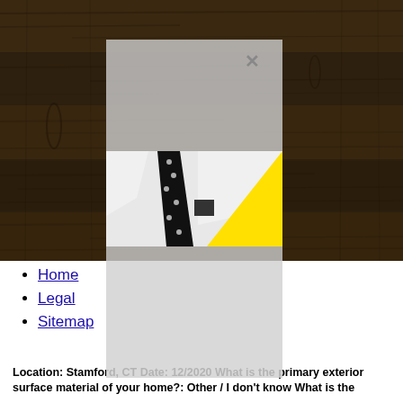[Figure (photo): Website screenshot showing a dark wood-panel background with a light gray modal/dialog box overlay. Inside the modal is a black-and-white photo of a man in a white dress shirt with a polka-dot tie and pocket square, overlaid with a yellow triangle graphic. A gray X close button appears in the upper-right of the modal.]
Home
Legal
Sitemap
Location: Stamford, CT Date: 12/2020 What is the primary exterior surface material of your home?: Other / I don't know What is the